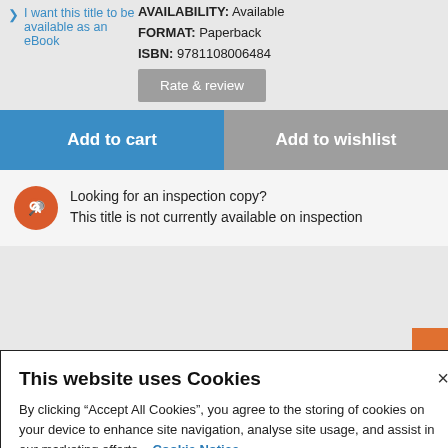I want this title to be available as an eBook
AVAILABILITY: Available
FORMAT: Paperback
ISBN: 9781108006484
Rate & review
Add to cart
Add to wishlist
Looking for an inspection copy?
This title is not currently available on inspection
This website uses Cookies
By clicking “Accept All Cookies”, you agree to the storing of cookies on your device to enhance site navigation, analyse site usage, and assist in our marketing efforts.   Cookie Notice